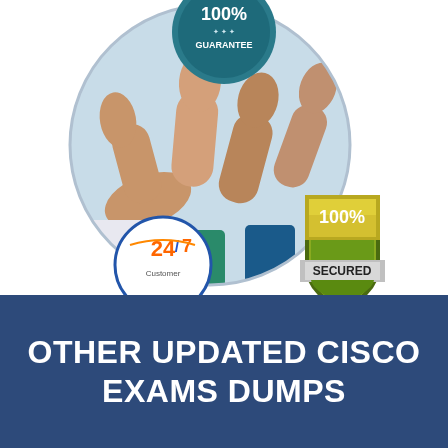[Figure (illustration): Circular photo of multiple hands giving thumbs up, overlaid with a '100% Guarantee' badge at the top center, a '24/7 Customer' circular logo at the bottom left, and a gold/green shield badge with '100% SECURED' text at the bottom right.]
OTHER UPDATED CISCO EXAMS DUMPS